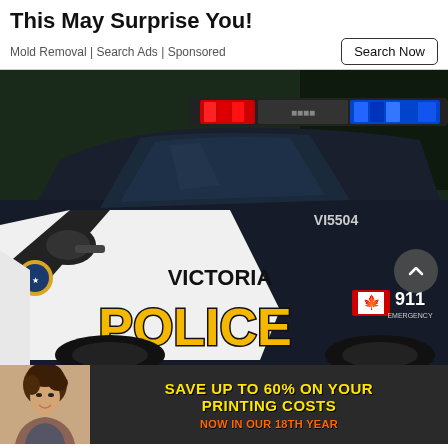This May Surprise You!
Mold Removal | Search Ads | Sponsored
Search Now
[Figure (photo): Victoria Police car with flashing red and blue lights on roof, number VI5504 on window, Canadian flag and 911 Emergency badge on door, VICTORIA POLICE lettering on white and black door panel]
[Figure (photo): Advertisement banner: woman with updo hairstyle smiling, text reads SAVE UP TO 60% ON YOUR PRINTING COSTS NOW IN OUR 18th YEAR on dark background]